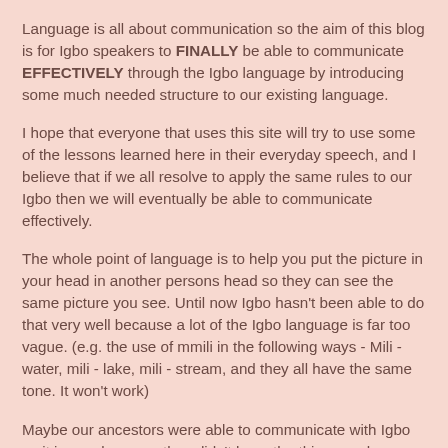Language is all about communication so the aim of this blog is for Igbo speakers to FINALLY be able to communicate EFFECTIVELY through the Igbo language by introducing some much needed structure to our existing language.
I hope that everyone that uses this site will try to use some of the lessons learned here in their everyday speech, and I believe that if we all resolve to apply the same rules to our Igbo then we will eventually be able to communicate effectively.
The whole point of language is to help you put the picture in your head in another persons head so they can see the same picture you see. Until now Igbo hasn't been able to do that very well because a lot of the Igbo language is far too vague. (e.g. the use of mmili in the following ways - Mili - water, mili - lake, mili - stream, and they all have the same tone. It won't work)
Maybe our ancestors were able to communicate with Igbo as it is now because they didn't have the things we have now and they didn't venture very far from their own land anyway